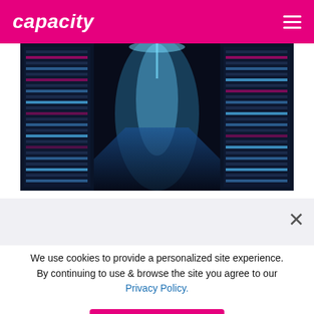capacity
[Figure (photo): A long corridor of server racks in a data center, lit with blue lighting creating a vanishing-point perspective]
Africa Data Centres commences work Samrand expansion
We use cookies to provide a personalized site experience. By continuing to use & browse the site you agree to our Privacy Policy.
I AGREE